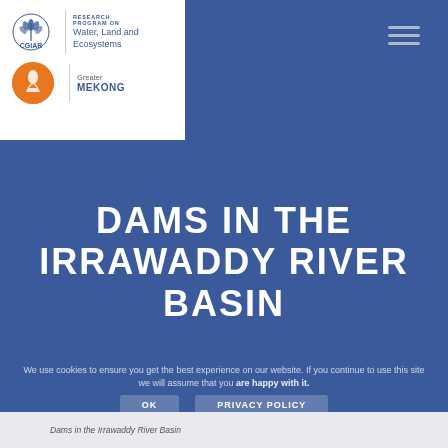[Figure (logo): CGIAR Research Program on Water, Land and Ecosystems logo with Greater Mekong logo]
DAMS IN THE IRRAWADDY RIVER BASIN
We use cookies to ensure you get the best experience on our website. If you continue to use this site we will assume that you are happy with it.
OK   PRIVACY POLICY
Dams in the Irrawaddy River Basin